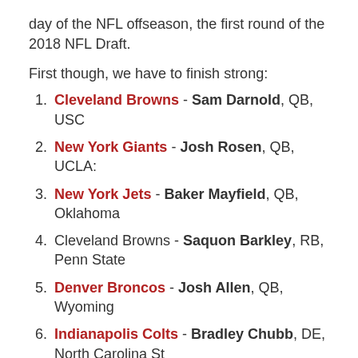day of the NFL offseason, the first round of the 2018 NFL Draft.
First though, we have to finish strong:
1. Cleveland Browns - Sam Darnold, QB, USC
2. New York Giants - Josh Rosen, QB, UCLA:
3. New York Jets - Baker Mayfield, QB, Oklahoma
4. Cleveland Browns - Saquon Barkley, RB, Penn State
5. Denver Broncos - Josh Allen, QB, Wyoming
6. Indianapolis Colts - Bradley Chubb, DE, North Carolina St
7. Tampa Bay Buccaneers - Quenton Nelson, OG, Notre Dame